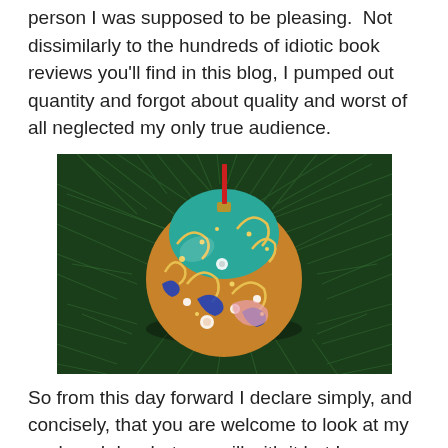person I was supposed to be pleasing.  Not dissimilarly to the hundreds of idiotic book reviews you'll find in this blog, I pumped out quantity and forgot about quality and worst of all neglected my only true audience.
[Figure (photo): A decorative ornamental Christmas ball with intricate cloisonné-style gold, teal, blue, and white floral patterns, hanging by a red ribbon from pine tree branches.]
So from this day forward I declare simply, and concisely, that you are welcome to look at my work and do what you will with it but I sincerely and completely don't give a damn